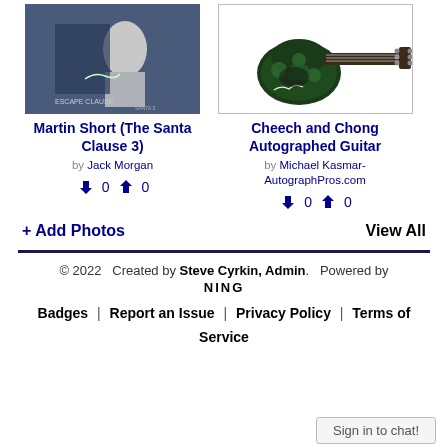[Figure (photo): Martin Short autographed photo from The Santa Clause 3, black and white fantasy scene with signature]
Martin Short (The Santa Clause 3)
by Jack Morgan
0 0 (thumbs down and thumbs up vote counts)
[Figure (photo): Cheech and Chong autographed electric guitar with dark green cannabis leaf design]
Cheech and Chong Autographed Guitar
by Michael Kasmar-AutographPros.com
0 0 (thumbs down and thumbs up vote counts)
+ Add Photos
View All
© 2022   Created by Steve Cyrkin, Admin.   Powered by NING
Badges  |  Report an Issue  |  Privacy Policy  |  Terms of Service
Sign in to chat!